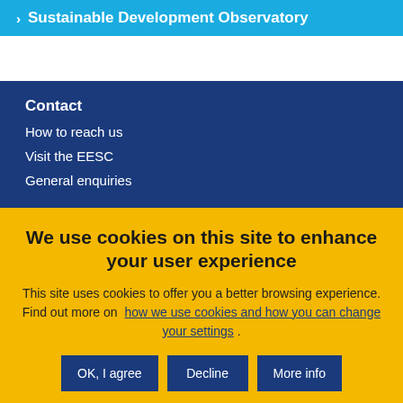> Sustainable Development Observatory
Contact
How to reach us
Visit the EESC
General enquiries
We use cookies on this site to enhance your user experience
This site uses cookies to offer you a better browsing experience. Find out more on how we use cookies and how you can change your settings .
OK, I agree | Decline | More info